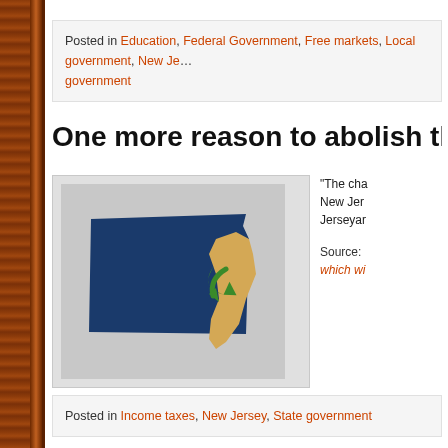Posted in Education, Federal Government, Free markets, Local government, New Jersey, State government
One more reason to abolish the [income tax]
[Figure (map): Map showing Pennsylvania (blue) with New Jersey (gold/tan) overlaid on its right side with a green arrow indicating movement from NJ to PA]
“The challenge for New Jersey... New Jerseyans...
Source: which wi...
Posted in Income taxes, New Jersey, State government